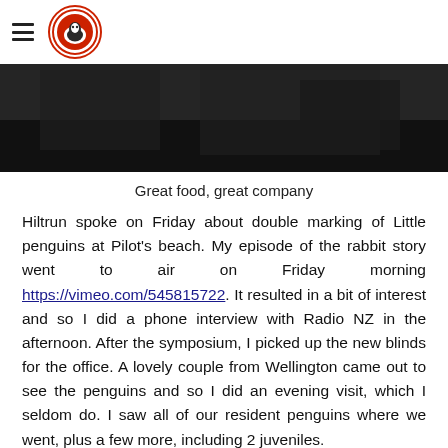Navigation menu and logo
[Figure (photo): Dark photograph, appears to show people at an event, mostly dark tones]
Great food, great company
Hiltrun spoke on Friday about double marking of Little penguins at Pilot's beach. My episode of the rabbit story went to air on Friday morning https://vimeo.com/545815722. It resulted in a bit of interest and so I did a phone interview with Radio NZ in the afternoon. After the symposium, I picked up the new blinds for the office. A lovely couple from Wellington came out to see the penguins and so I did an evening visit, which I seldom do. I saw all of our resident penguins where we went, plus a few more, including 2 juveniles.